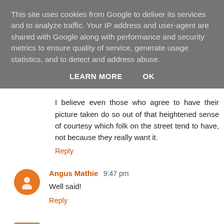This site uses cookies from Google to deliver its services and to analyze traffic. Your IP address and user-agent are shared with Google along with performance and security metrics to ensure quality of service, generate usage statistics, and to detect and address abuse.
LEARN MORE    OK
I believe even those who agree to have their picture taken do so out of that heightened sense of courtesy which folk on the street tend to have, not because they really want it.
Reply
Angus Mathie 9:47 pm
Well said!
Reply
Jonathan Blundell 9:16 pm